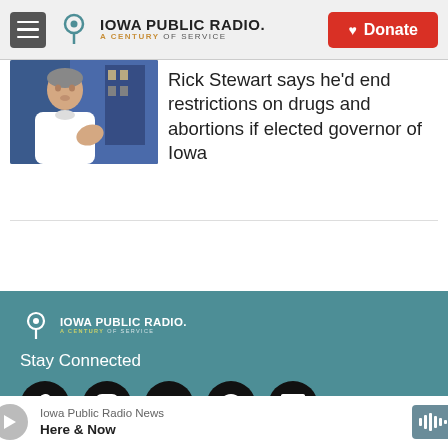[Figure (logo): Iowa Public Radio logo with hamburger menu and Donate button]
[Figure (photo): Person in white shirt speaking, with building in background]
Rick Stewart says he'd end restrictions on drugs and abortions if elected governor of Iowa
[Figure (logo): Iowa Public Radio footer logo - white version]
Stay Connected
[Figure (infographic): Social media icons: Twitter, Instagram, YouTube, Facebook, LinkedIn]
Iowa Public Radio News
Here & Now